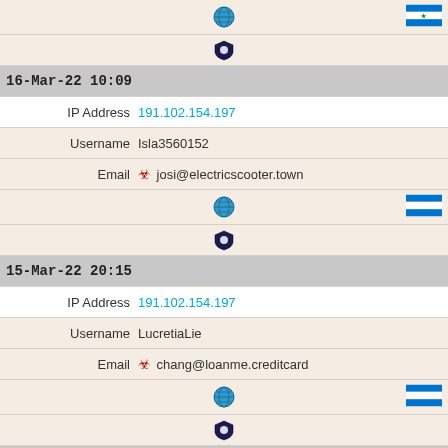| (globe icon) | (Honduras flag) |
| (shield icon) |  |
| 16-Mar-22 10:09 |  |
| IP Address | 191.102.154.197 |
| Username | Isla3560152 |
| Email | 🧨 josi@electricscooter.town |
| (globe icon) | (Honduras flag) |
| (shield icon) |  |
| 15-Mar-22 20:15 |  |
| IP Address | 191.102.154.197 |
| Username | LucretiaLie |
| Email | 🧨 chang@loanme.creditcard |
| (globe icon) | (Honduras flag) |
| (shield icon) |  |
| 15-Mar-22 13:04 |  |
| IP Address | 191.102.154.197 |
| Username | FernEurey08 |